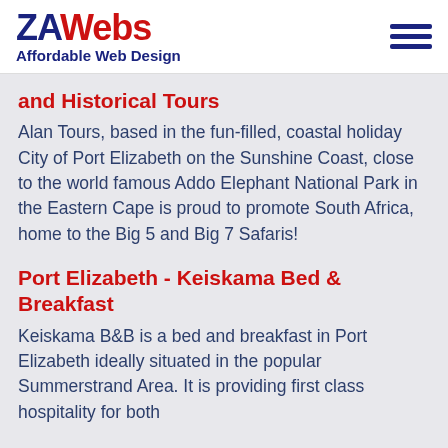ZAWebs Affordable Web Design
and Historical Tours
Alan Tours, based in the fun-filled, coastal holiday City of Port Elizabeth on the Sunshine Coast, close to the world famous Addo Elephant National Park in the Eastern Cape is proud to promote South Africa, home to the Big 5 and Big 7 Safaris!
Port Elizabeth - Keiskama Bed & Breakfast
Keiskama B&B is a bed and breakfast in Port Elizabeth ideally situated in the popular Summerstrand Area. It is providing first class hospitality for both